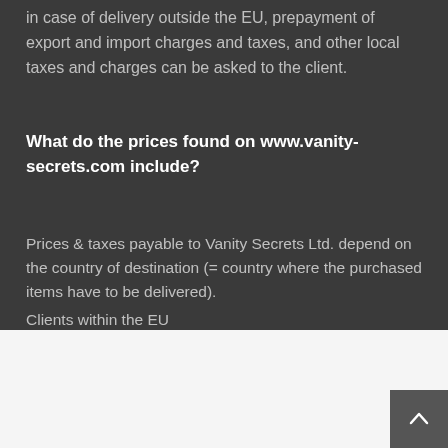in case of delivery outside the EU, prepayment of export and import charges and taxes, and other local taxes and charges can be asked to the client.
What do the prices found on www.vanity-secrets.com include?
Prices & taxes payable to Vanity Secrets Ltd. depend on the country of destination (= country where the purchased items have to be delivered).
Clients within the EU
This website uses cookies to improve your experience. We'll assume you're ok with this, but you can opt-out if you wish.
Cookie settings   ACCEPT